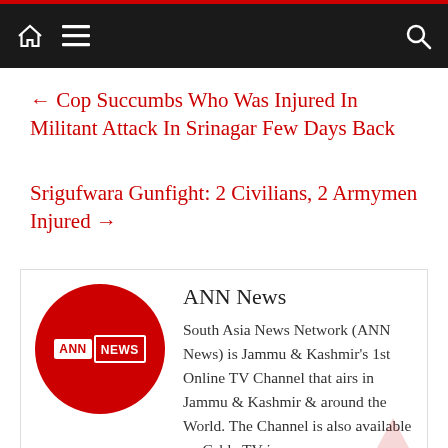ANN News navigation bar
← Cop Succumbs Who Was Injured In Militant Attack In Srinagar Few Days Back
Srigufwara Gunfight: 2 Civilians, 2 Armymen Injured →
ANN News
South Asia News Network (ANN News) is Jammu & Kashmir's 1st Online TV Channel that airs in Jammu & Kashmir & around the World. The Channel is also available on Cable TV in